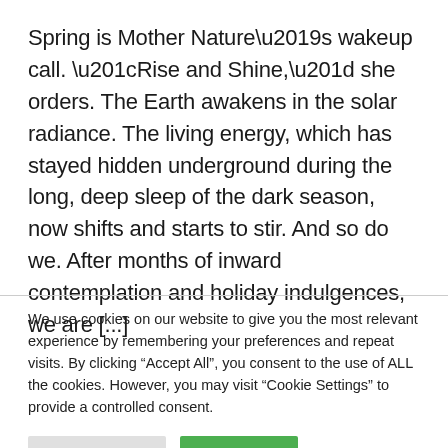Spring is Mother Nature's wakeup call. “Rise and Shine,” she orders. The Earth awakens in the solar radiance. The living energy, which has stayed hidden underground during the long, deep sleep of the dark season, now shifts and starts to stir. And so do we. After months of inward contemplation and holiday indulgences, we are [...]
We use cookies on our website to give you the most relevant experience by remembering your preferences and repeat visits. By clicking “Accept All”, you consent to the use of ALL the cookies. However, you may visit “Cookie Settings” to provide a controlled consent.